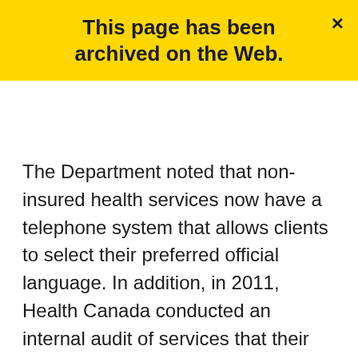This page has been archived on the Web.
The Department noted that non-insured health services now have a telephone system that allows clients to select their preferred official language. In addition, in 2011, Health Canada conducted an internal audit of services that their Montréal and Longueuil offices provided to the public via telephone. That audit revealed that high-quality service was provided in